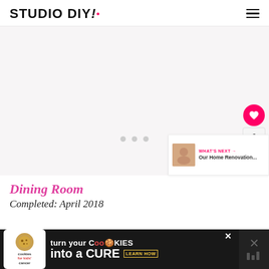STUDIO DIY!
[Figure (photo): Large image area with light pinkish-grey background, loading/placeholder state with three grey dots carousel indicators]
Dining Room
Completed: April 2018
[Figure (infographic): Advertisement banner: cookies for kids cancer — turn your cookies into a CURE, LEARN HOW]